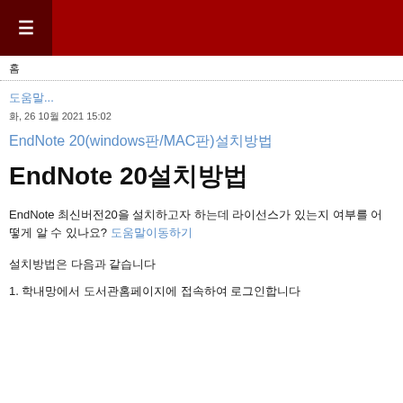≡
홈
도움말...
화, 26 10월 2021 15:02
EndNote 20(windows판/MAC판)설치방법
EndNote 20설치방법
EndNote 최신버전20을 설치하고자 하는데 라이선스가 있는지 여부를 어떻게 알 수 있나요? 도움말이동하기
설치방법은 다음과 같습니다
1. 학내망에서 도서관홈페이지에 접속하여 로그인합니다